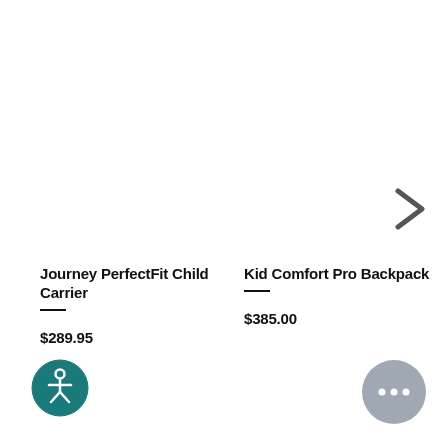[Figure (other): Chevron/arrow right navigation control]
Journey PerfectFit Child Carrier
$289.95
Kid Comfort Pro Backpack
$385.00
[Figure (other): Accessibility button — circular teal icon with wheelchair figure]
[Figure (other): Chat button — circular grey icon with ellipsis (...)]